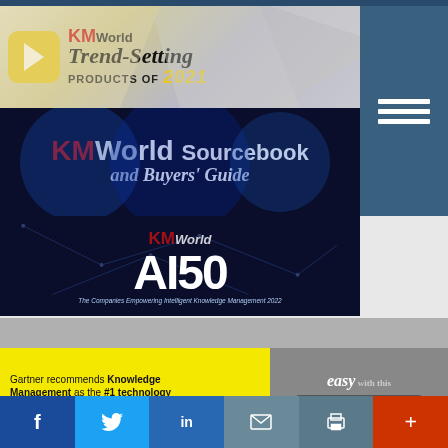[Figure (logo): KMWorld Trend-Setting Products of 2021 banner with yellow play button logo]
[Figure (logo): KMWorld Sourcebook and Buyers' Guide banner on dark blue background]
[Figure (logo): KMWorld AI50 – The Companies Empowering Intelligent Knowledge Management 2022 banner]
[Figure (photo): Hamburger menu icon (3 horizontal lines) on dark teal background in right sidebar]
[Figure (infographic): Advertisement: Gartner recommends Knowledge Management as the #1 technology for customer service for 2022. Download Free Gartner Report. easy with logo.]
[Figure (infographic): Social sharing bar: Facebook, Twitter, LinkedIn, Email, Print, More buttons]